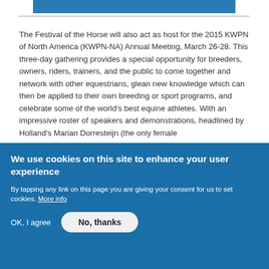[Figure (other): Blue decorative bar at the top of content area]
The Festival of the Horse will also act as host for the 2015 KWPN of North America (KWPN-NA) Annual Meeting, March 26-28. This three-day gathering provides a special opportunity for breeders, owners, riders, trainers, and the public to come together and network with other equestrians, glean new knowledge which can then be applied to their own breeding or sport programs, and celebrate some of the world's best equine athletes. With an impressive roster of speakers and demonstrations, headlined by Holland's Marian Dorresteijn (the only female
We use cookies on this site to enhance your user experience
By tapping any link on this page you are giving your consent for us to set cookies. More info
OK, I agree
No, thanks